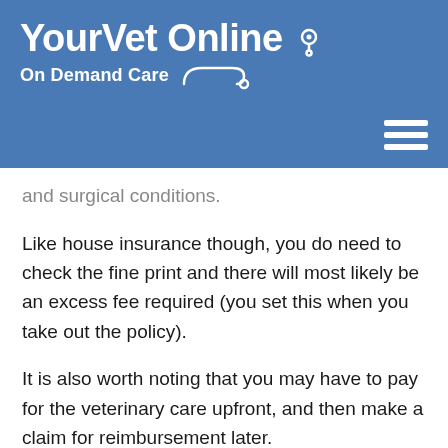[Figure (logo): YourVetOnline On Demand Care logo with stethoscope icon and hamburger menu icon on a blue header background]
and surgical conditions.
Like house insurance though, you do need to check the fine print and there will most likely be an excess fee required (you set this when you take out the policy).
It is also worth noting that you may have to pay for the veterinary care upfront, and then make a claim for reimbursement later.